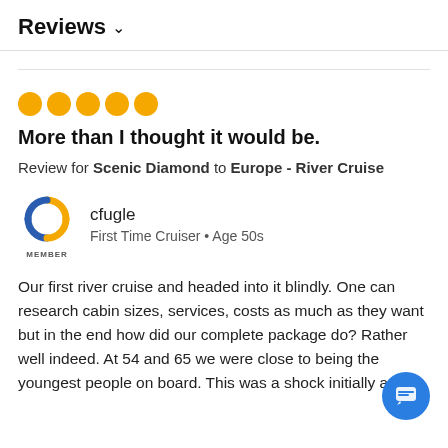Reviews ∨
[Figure (other): Five orange filled circles representing a 5-dot rating]
More than I thought it would be.
Review for Scenic Diamond to Europe - River Cruise
[Figure (logo): Cruise Critic member icon with orange and blue C logo and MEMBER label]
cfugle
First Time Cruiser • Age 50s
Our first river cruise and headed into it blindly. One can research cabin sizes, services, costs as much as they want but in the end how did our complete package do? Rather well indeed. At 54 and 65 we were close to being the youngest people on board. This was a shock initially and